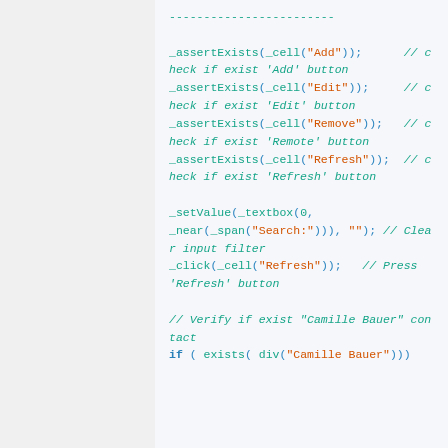------------------------
_assertExists(_cell("Add"));  // check if exist 'Add' button
_assertExists(_cell("Edit"));  // check if exist 'Edit' button
_assertExists(_cell("Remove"));  // check if exist 'Remote' button
_assertExists(_cell("Refresh"));  // check if exist 'Refresh' button

_setValue(_textbox(0, _near(_span("Search:"))), "");  // Clear input filter
_click(_cell("Refresh"));  // Press 'Refresh' button

// Verify if exist "Camille Bauer" contact
if ( exists( div("Camille Bauer")))